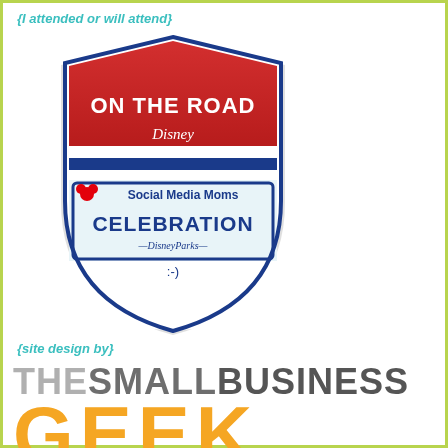{I attended or will attend}
[Figure (logo): Disney Social Media Moms Celebration On The Road badge/shield logo with red top section reading ON THE ROAD, Disney script, blue section with Social Media Moms, and CELEBRATION DisneyParks text with smiley face]
{site design by}
THESMALLBUSINESS
GEEK